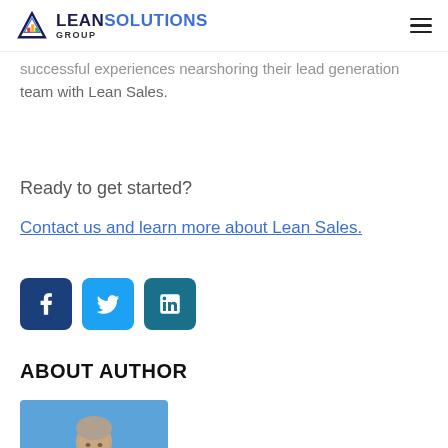Lean Solutions Group
…successful experiences nearshoring their lead generation team with Lean Sales.
Ready to get started?
Contact us and learn more about Lean Sales.
[Figure (other): Social media share buttons: Facebook, Twitter, LinkedIn]
ABOUT AUTHOR
[Figure (photo): Headshot photo of a man outdoors with blue sky and trees in background]